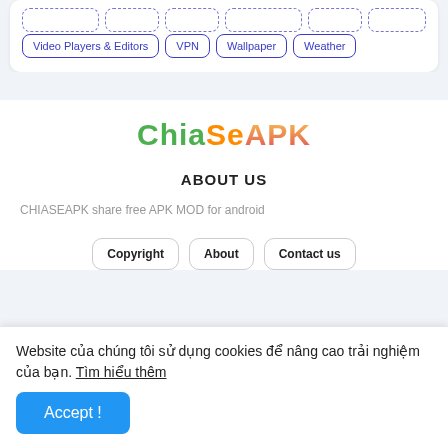Video Players & Editors | VPN | Wallpaper | Weather
[Figure (logo): ChiaSe APK colorful logo text]
ABOUT US
CHIASEAPK share free APK MOD for android
Copyright  About  Contact us
Website của chúng tôi sử dụng cookies để nâng cao trải nghiệm của bạn. Tìm hiểu thêm
Accept !